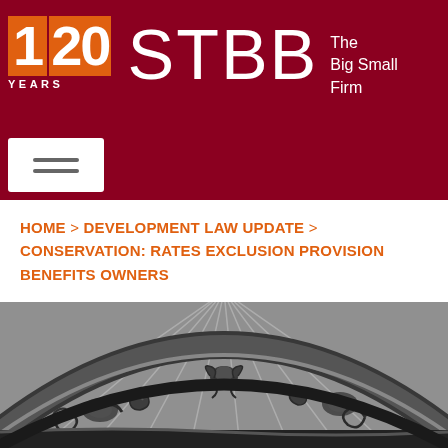120 YEARS | STBB | The Big Small Firm
HOME > DEVELOPMENT LAW UPDATE > CONSERVATION: RATES EXCLUSION PROVISION BENEFITS OWNERS
[Figure (photo): Black and white photograph of ornate architectural detail showing carved decorative frieze with cherubs/angels and scrollwork on a curved arch or ceiling]